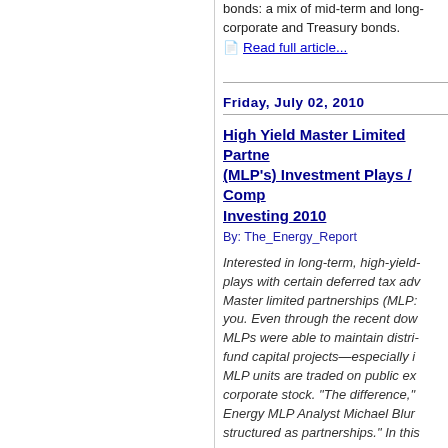bonds: a mix of mid-term and long-term corporate and Treasury bonds.
Read full article...
Friday, July 02, 2010
High Yield Master Limited Partnerships (MLP's) Investment Plays / Comp Investing 2010
By: The_Energy_Report
Interested in long-term, high-yield plays with certain deferred tax adv Master limited partnerships (MLP you. Even through the recent dow MLPs were able to maintain distri fund capital projects—especially i MLP units are traded on public ex corporate stock. "The difference," Energy MLP Analyst Michael Blur structured as partnerships." In thi